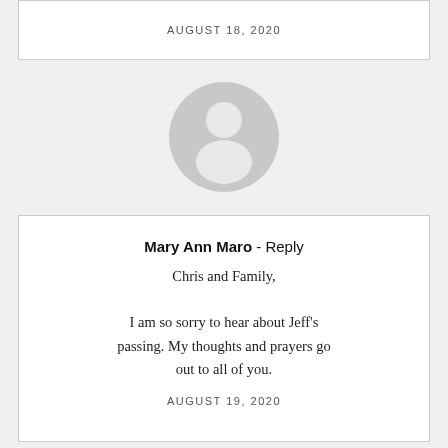AUGUST 18, 2020
[Figure (illustration): Generic grey avatar/silhouette icon of a person]
Mary Ann Maro - Reply
Chris and Family,

I am so sorry to hear about Jeff's passing. My thoughts and prayers go out to all of you.

AUGUST 19, 2020